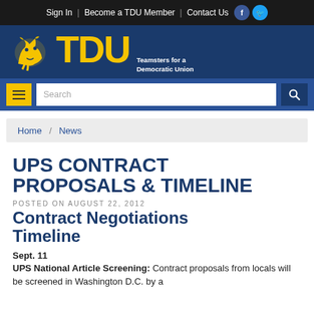Sign In | Become a TDU Member | Contact Us
[Figure (logo): TDU - Teamsters for a Democratic Union logo with horse icon on dark blue background]
Search
Home / News
UPS CONTRACT PROPOSALS & TIMELINE
POSTED ON AUGUST 22, 2012
Contract Negotiations Timeline
Sept. 11
UPS National Article Screening: Contract proposals from locals will be screened in Washington D.C. by a